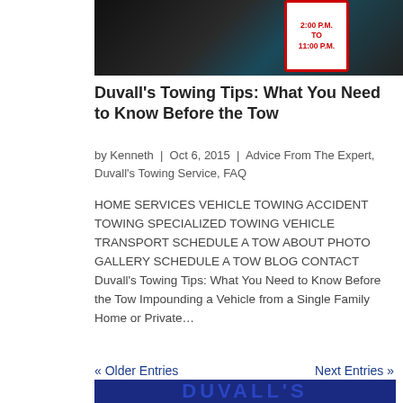[Figure (photo): A dark photo showing a vehicle wheel and a no-parking sign reading '2:00 P.M. TO 11:00 P.M.' with red border on white background]
Duvall's Towing Tips: What You Need to Know Before the Tow
by Kenneth | Oct 6, 2015 | Advice From The Expert, Duvall's Towing Service, FAQ
HOME SERVICES VEHICLE TOWING ACCIDENT TOWING SPECIALIZED TOWING VEHICLE TRANSPORT SCHEDULE A TOW ABOUT PHOTO GALLERY SCHEDULE A TOW BLOG CONTACT Duvall's Towing Tips: What You Need to Know Before the Tow Impounding a Vehicle from a Single Family Home or Private…
« Older Entries    Next Entries »